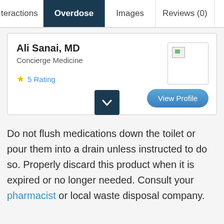teractions | Overdose | Images | Reviews (0)
Ali Sanai, MD
Concierge Medicine
5 Rating
Do not flush medications down the toilet or pour them into a drain unless instructed to do so. Properly discard this product when it is expired or no longer needed. Consult your pharmacist or local waste disposal company.